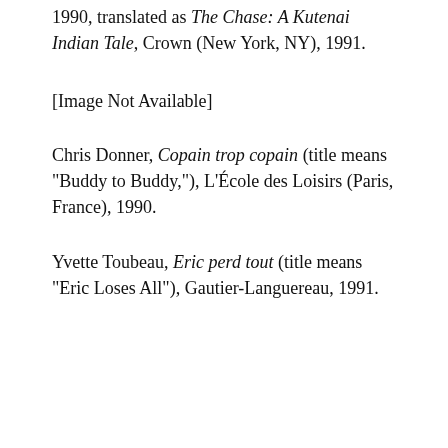1990, translated as The Chase: A Kutenai Indian Tale, Crown (New York, NY), 1991.
[Figure (other): [Image Not Available]]
Chris Donner, Copain trop copain (title means "Buddy to Buddy,"), L'École des Loisirs (Paris, France), 1990.
Yvette Toubeau, Eric perd tout (title means "Eric Loses All"), Gautier-Languereau, 1991.